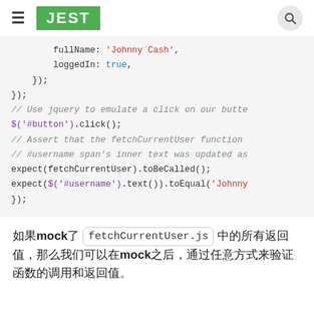JEST
fullName: 'Johnny Cash',
        loggedIn: true,
    });
});

// Use jquery to emulate a click on our butt
$('#button').click();

// Assert that the fetchCurrentUser function
// #username span's inner text was updated as
expect(fetchCurrentUser).toBeCalled();
expect($('#username').text()).toEqual('Johnny
});
如果mock了 fetchCurrentUser.js 中的所有返回值，那么我们可以在mock之后，通过任意方式来验证函数的调用和返回值。